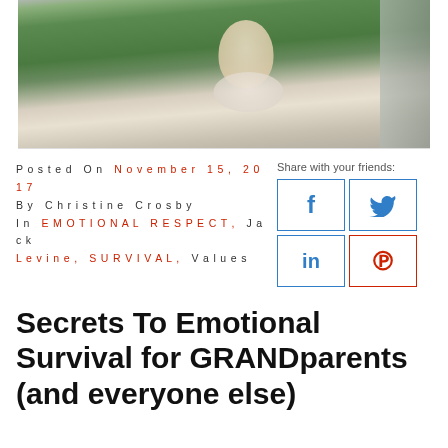[Figure (photo): A person in a green shirt holding a newborn baby, with curtains in the background]
Posted On November 15, 2017
By Christine Crosby
In EMOTIONAL RESPECT, Jack Levine, SURVIVAL, Values
Share with your friends:
Secrets To Emotional Survival for GRANDparents (and everyone else)